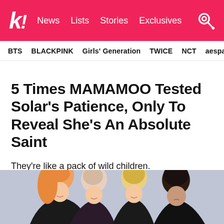k! News Lists Stories Exclusives
BTS   BLACKPINK   Girls' Generation   TWICE   NCT   aespa
5 Times MAMAMOO Tested Solar's Patience, Only To Reveal She's An Absolute Saint
They're like a pack of wild children.
[Figure (photo): Four members of MAMAMOO (K-pop girl group) posing closely together. One member has orange/blonde hair, two have lighter hair, and one has dark hair. They are wearing dark patterned outfits against a light grey background.]